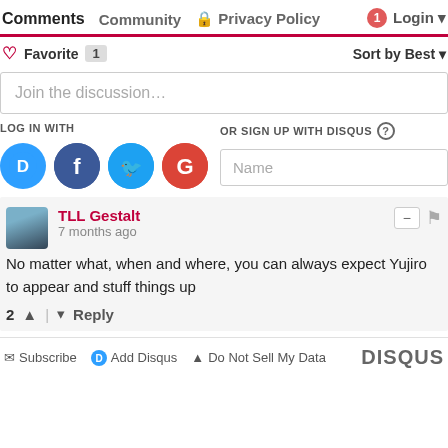Comments | Community | Privacy Policy | Login
❤ Favorite 1   Sort by Best
Join the discussion…
LOG IN WITH   OR SIGN UP WITH DISQUS ?
TLL Gestalt
7 months ago
No matter what, when and where, you can always expect Yujiro to appear and stuff things up
2 ▲ | ▼ Reply
✉ Subscribe  Ⓓ Add Disqus  ▲ Do Not Sell My Data  DISQUS